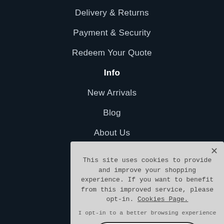Delivery & Returns
Payment & Security
Redeem Your Quote
Info
New Arrivals
Blog
About Us
© 2022 Plumb-Warehouse Limited
Edison Rd, A...
Company Regi...
This site uses cookies to provide and improve your shopping experience. If you want to benefit from this improved service, please opt-in. Cookies Page.

I opt-in to a better browsing experience

Accept Cookies